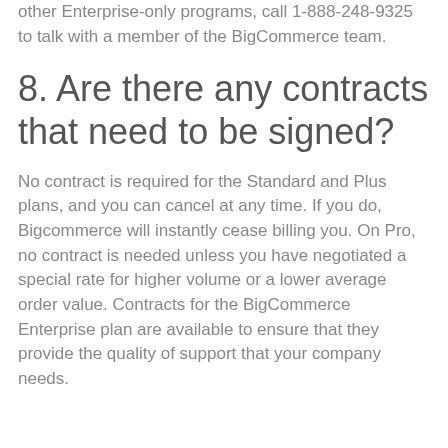other Enterprise-only programs, call 1-888-248-9325 to talk with a member of the BigCommerce team.
8. Are there any contracts that need to be signed?
No contract is required for the Standard and Plus plans, and you can cancel at any time. If you do, Bigcommerce will instantly cease billing you. On Pro, no contract is needed unless you have negotiated a special rate for higher volume or a lower average order value. Contracts for the BigCommerce Enterprise plan are available to ensure that they provide the quality of support that your company needs.